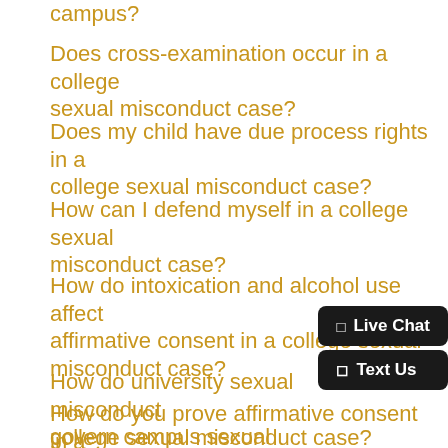campus?
Does cross-examination occur in a college sexual misconduct case?
Does my child have due process rights in a college sexual misconduct case?
How can I defend myself in a college sexual misconduct case?
How do intoxication and alcohol use affect affirmative consent in a college sexual misconduct case?
How do university sexual misconduct govern campus sexual assault allegations?
How do you prove affirmative consent in a college sexual misconduct case?
How is sanctioning handled in university sexual